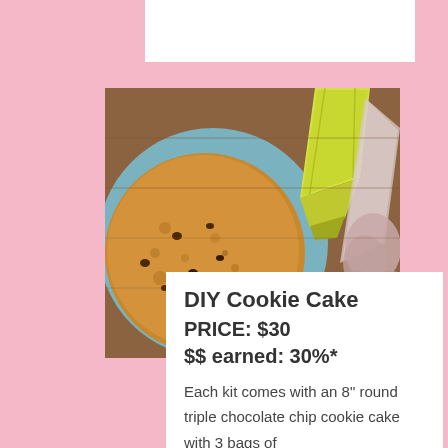[Figure (photo): Photo of a large round chocolate chip cookie cake and two frosting piping bags (one yellow, one clear/white) on a blue plate, wooden background]
DIY Cookie Cake
PRICE: $30
$$ earned: 30%*
Each kit comes with an 8" round triple chocolate chip cookie cake with 3 bags of